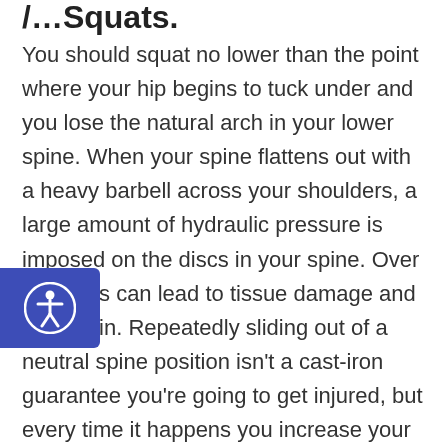/…Squats.
You should squat no lower than the point where your hip begins to tuck under and you lose the natural arch in your lower spine. When your spine flattens out with a heavy barbell across your shoulders, a large amount of hydraulic pressure is imposed on the discs in your spine. Over time, this can lead to tissue damage and back pain. Repeatedly sliding out of a neutral spine position isn't a cast-iron guarantee you're going to get injured, but every time it happens you increase your risk of serious injury and/or a